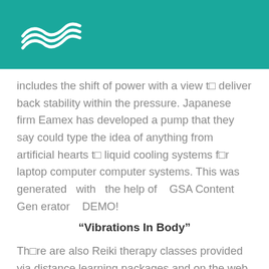[logo: wave/water mark icon]
includes the shift of power with a view to deliver back stability within the pressure. Japanese firm Eamex has developed a pump that they say could type the idea of anything from artificial hearts to liquid cooling systems for laptop computer computer systems. This was generated with the help of GSA Content Generator DEMO!
“Vibrations In Body”
There are also Reiki therapy classes provided via distance learning packages and on the web so its really as much as you to embrace the facility of this alternative form of healing or not. These embrace